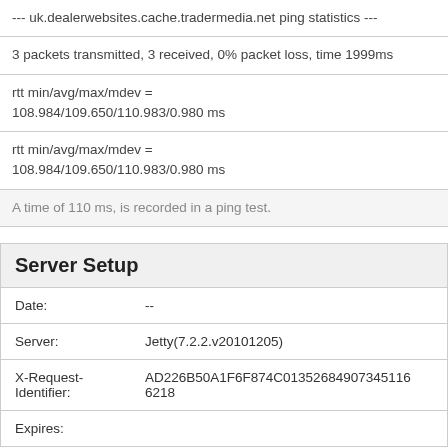--- uk.dealerwebsites.cache.tradermedia.net ping statistics ---
3 packets transmitted, 3 received, 0% packet loss, time 1999ms
rtt min/avg/max/mdev = 108.984/109.650/110.983/0.980 ms
rtt min/avg/max/mdev = 108.984/109.650/110.983/0.980 ms
A time of 110 ms, is recorded in a ping test.
Server Setup
| Field | Value |
| --- | --- |
| Date: | -- |
| Server: | Jetty(7.2.2.v20101205) |
| X-Request-Identifier: | AD226B50A1F6F874C01352684907345166218 |
| Expires: |  |